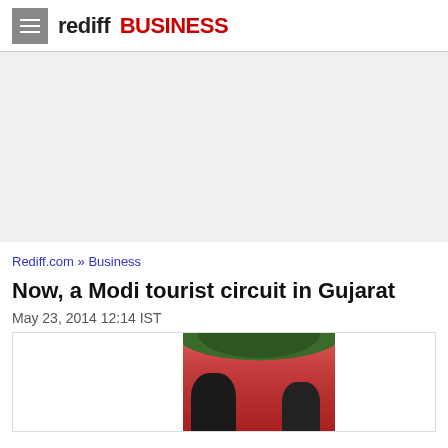rediff BUSINESS
[Figure (other): Advertisement banner area (gray background)]
Rediff.com » Business
Now, a Modi tourist circuit in Gujarat
May 23, 2014 12:14 IST
[Figure (photo): Photo of a person being garlanded with a large flower garland, with a red/pink background and dark silhouettes of people in foreground]